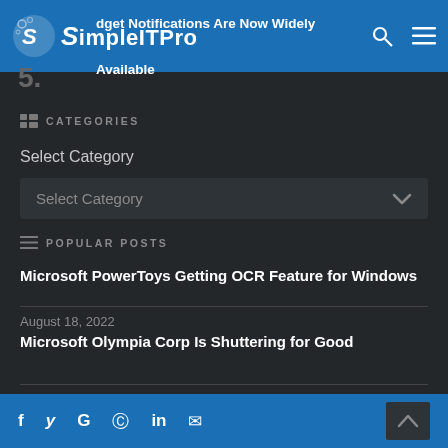SimpleITPro
dget Notifications Are Now Widely Available
CATEGORIES
Select Category
Select Category
POPULAR POSTS
Microsoft PowerToys Getting OCR Feature for Windows
August 18, 2022
Microsoft Olympia Corp Is Shuttering for Good
f  y  G  ⊕  in  ✉